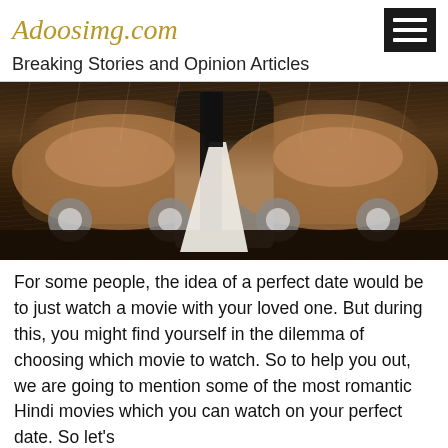Adoosimg.com
Breaking Stories and Opinion Articles
[Figure (photo): A couple in wedding attire standing in the rain on a cobblestone street, with a vintage beige/orange car in the background. Dramatic dark moody lighting.]
For some people, the idea of a perfect date would be to just watch a movie with your loved one. But during this, you might find yourself in the dilemma of choosing which movie to watch. So to help you out, we are going to mention some of the most romantic Hindi movies which you can watch on your perfect date. So let's buckle up and start the journey...